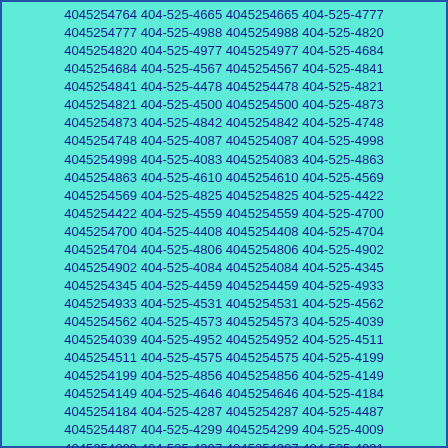4045254764 404-525-4665 4045254665 404-525-4777 4045254777 404-525-4988 4045254988 404-525-4820 4045254820 404-525-4977 4045254977 404-525-4684 4045254684 404-525-4567 4045254567 404-525-4841 4045254841 404-525-4478 4045254478 404-525-4821 4045254821 404-525-4500 4045254500 404-525-4873 4045254873 404-525-4842 4045254842 404-525-4748 4045254748 404-525-4087 4045254087 404-525-4998 4045254998 404-525-4083 4045254083 404-525-4863 4045254863 404-525-4610 4045254610 404-525-4569 4045254569 404-525-4825 4045254825 404-525-4422 4045254422 404-525-4559 4045254559 404-525-4700 4045254700 404-525-4408 4045254408 404-525-4704 4045254704 404-525-4806 4045254806 404-525-4902 4045254902 404-525-4084 4045254084 404-525-4345 4045254345 404-525-4459 4045254459 404-525-4933 4045254933 404-525-4531 4045254531 404-525-4562 4045254562 404-525-4573 4045254573 404-525-4039 4045254039 404-525-4952 4045254952 404-525-4511 4045254511 404-525-4575 4045254575 404-525-4199 4045254199 404-525-4856 4045254856 404-525-4149 4045254149 404-525-4646 4045254646 404-525-4184 4045254184 404-525-4287 4045254287 404-525-4487 4045254487 404-525-4299 4045254299 404-525-4009 4045254009 404-525-4307 4045254307 404-525-4031 4045254031 404-525-4650 4045254650 404-525-4101